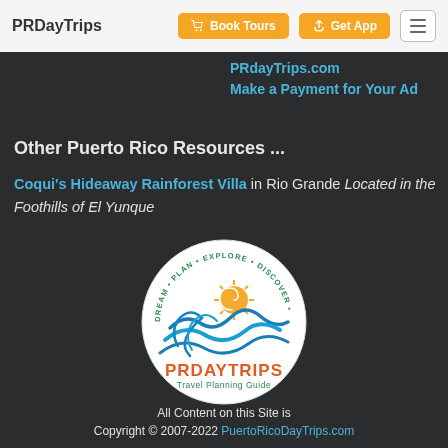PRDayTrips | Book Tours | Get App
PRDayTrips.com Make a Payment for Your Ad
Other Puerto Rico Resources ...
Coqui's Hideaway Rainforest Villa in Rio Grande Located in the Foothills of El Yunque
[Figure (logo): PRDayTrips Travel Planning Guide circular logo with sun, blue waves, and text DREAM • PLAN • EXPLORE • DISCOVER around the circle]
All Content on this Site is Copyright © 2007-2022 PuertoRicoDayTrips.com